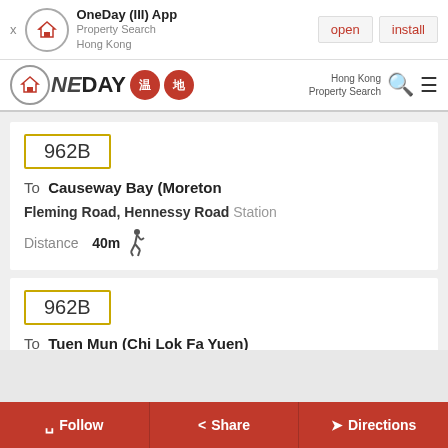[Figure (screenshot): App install banner for OneDay (III) App - Property Search Hong Kong, with open and install buttons]
[Figure (logo): OneDay property search Hong Kong logo with red circular icons]
962B
To Causeway Bay (Moreton
Fleming Road, Hennessy Road Station
Distance 40m
962B
To Tuen Mun (Chi Lok Fa Yuen)
Fleming Road, Hennessy Road Station
Follow   Share   Directions